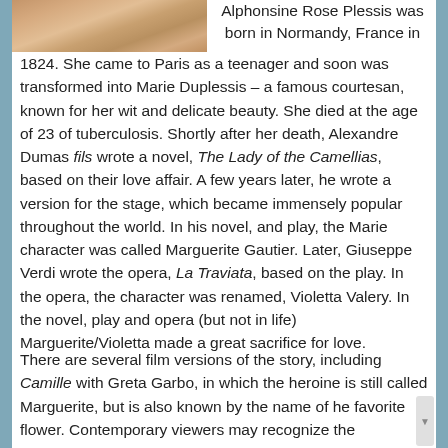[Figure (photo): Portrait photo of a woman, partially visible at the top left corner of the page]
Alphonsine Rose Plessis was born in Normandy, France in 1824. She came to Paris as a teenager and soon was transformed into Marie Duplessis – a famous courtesan, known for her wit and delicate beauty. She died at the age of 23 of tuberculosis. Shortly after her death, Alexandre Dumas fils wrote a novel, The Lady of the Camellias, based on their love affair. A few years later, he wrote a version for the stage, which became immensely popular throughout the world. In his novel, and play, the Marie character was called Marguerite Gautier. Later, Giuseppe Verdi wrote the opera, La Traviata, based on the play. In the opera, the character was renamed, Violetta Valery. In the novel, play and opera (but not in life) Marguerite/Violetta made a great sacrifice for love.
There are several film versions of the story, including Camille with Greta Garbo, in which the heroine is still called Marguerite, but is also known by the name of her favorite flower. Contemporary viewers may recognize the